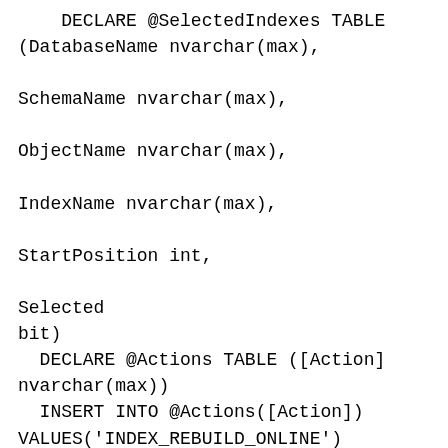DECLARE @SelectedIndexes TABLE
(DatabaseName nvarchar(max),

SchemaName nvarchar(max),

ObjectName nvarchar(max),

IndexName nvarchar(max),

StartPosition int,
                                Selected
bit)
  DECLARE @Actions TABLE ([Action]
nvarchar(max))
  INSERT INTO @Actions([Action])
VALUES('INDEX_REBUILD_ONLINE')
  INSERT INTO @Actions([Action])
VALUES('INDEX REBUILD OFFLINE')